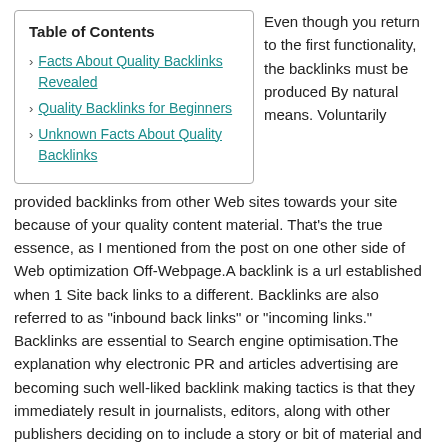| Table of Contents |
| --- |
| Facts About Quality Backlinks Revealed |
| Quality Backlinks for Beginners |
| Unknown Facts About Quality Backlinks |
Even though you return to the first functionality, the backlinks must be produced By natural means. Voluntarily provided backlinks from other Web sites towards your site because of your quality content material. That's the true essence, as I mentioned from the post on one other side of Web optimization Off-Webpage.A backlink is a url established when 1 Site back links to a different. Backlinks are also referred to as "inbound back links" or "incoming links." Backlinks are essential to Search engine optimisation.The explanation why electronic PR and articles advertising are becoming such well-liked backlink making tactics is that they immediately result in journalists, editors, along with other publishers deciding on to include a story or bit of material and hyperlink to it. These strategies make it easier to Make significant-quality backlinks and stay away from the risks connected with poisonous back links.
Some Known Details About Quality